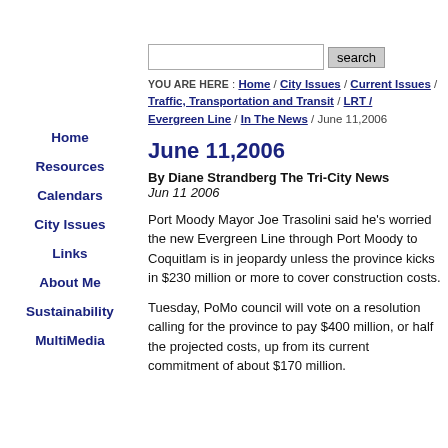Home
Resources
Calendars
City Issues
Links
About Me
Sustainability
MultiMedia
YOU ARE HERE : Home / City Issues / Current Issues / Traffic, Transportation and Transit / LRT / Evergreen Line / In The News / June 11,2006
June 11,2006
By Diane Strandberg The Tri-City News
Jun 11 2006
Port Moody Mayor Joe Trasolini said he's worried the new Evergreen Line through Port Moody to Coquitlam is in jeopardy unless the province kicks in $230 million or more to cover construction costs.
Tuesday, PoMo council will vote on a resolution calling for the province to pay $400 million, or half the projected costs, up from its current commitment of about $170 million.